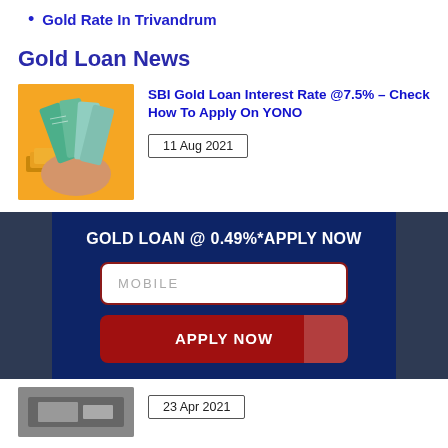Gold Rate In Trivandrum
Gold Loan News
[Figure (photo): Hand holding Indian currency notes and gold coins/bars against an orange background]
SBI Gold Loan Interest Rate @7.5% – Check How To Apply On YONO
11 Aug 2021
[Figure (infographic): Dark navy blue promotional banner: GOLD LOAN @ 0.49%*APPLY NOW with mobile input field and APPLY NOW button]
23 Apr 2021